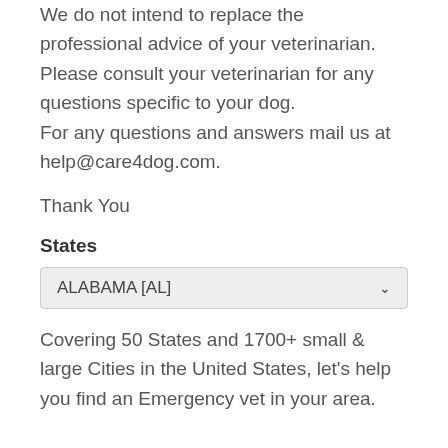We do not intend to replace the professional advice of your veterinarian. Please consult your veterinarian for any questions specific to your dog.
For any questions and answers mail us at help@care4dog.com.
Thank You
States
ALABAMA [AL]
Covering 50 States and 1700+ small & large Cities in the United States, let's help you find an Emergency vet in your area.